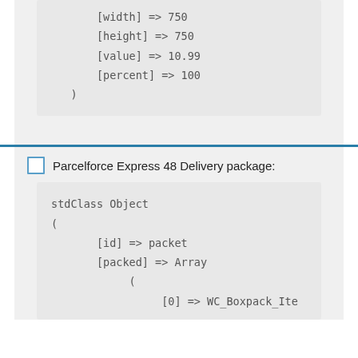[width] => 750
[height] => 750
[value] => 10.99
[percent] => 100
)
Parcelforce Express 48 Delivery package:
stdClass Object
(
    [id] => packet
    [packed] => Array
        (
            [0] => WC_Boxpack_Ite